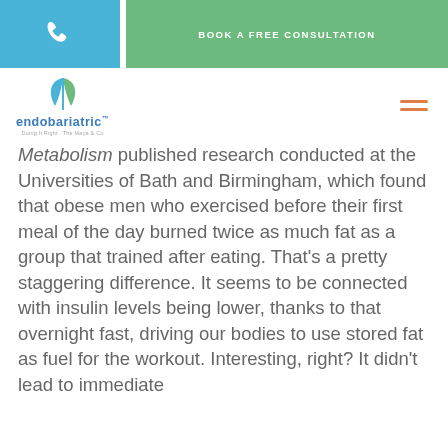BOOK A FREE CONSULTATION
[Figure (logo): Endobariatric logo with leaf icon and tagline]
Metabolism published research conducted at the Universities of Bath and Birmingham, which found that obese men who exercised before their first meal of the day burned twice as much fat as a group that trained after eating. That's a pretty staggering difference. It seems to be connected with insulin levels being lower, thanks to that overnight fast, driving our bodies to use stored fat as fuel for the workout. Interesting, right? It didn't lead to immediate